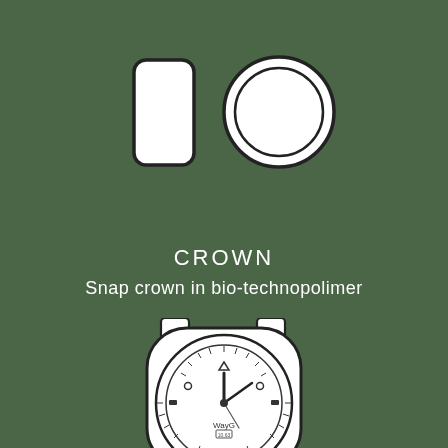[Figure (schematic): Two views of a watch crown component: side profile view (rounded rectangle cylinder) and front circular view (circle with inner ring), both outlined in black on green background]
CROWN
Snap crown in bio-technopolimer
[Figure (engineering-diagram): Technical illustration of a wristwatch face from the front, showing watch case with lugs, double bezel ring, dial with hour markers, hands (hour and minute), small triangle and circle markers at 12 o'clock, 'WayG' text branding, and small text/display below center. Watch shown from above.]